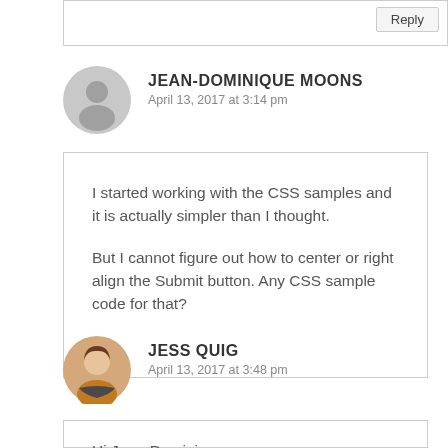Reply
JEAN-DOMINIQUE MOONS
April 13, 2017 at 3:14 pm
I started working with the CSS samples and it is actually simpler than I thought.

But I cannot figure out how to center or right align the Submit button. Any CSS sample code for that?
JESS QUIG
April 13, 2017 at 3:48 pm
Hi Jean-Dominique,